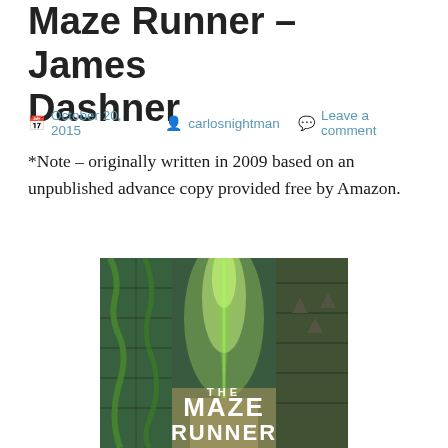Maze Runner – James Dashner
October 20, 2015  carlosnightman  Leave a comment
*Note – originally written in 2009 based on an unpublished advance copy provided free by Amazon.
[Figure (photo): Book cover of The Maze Runner by James Dashner, showing a corridor of tall stone walls covered in green vines with bright green light at the end, and the title THE MAZE RUNNER in large white text at the bottom.]